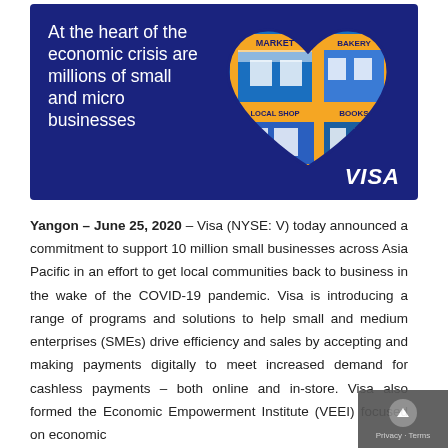[Figure (illustration): Visa branded banner with dark blue background. Left side has white text reading 'At the heart of the economic crisis are millions of small and micro businesses'. Right side shows a heart-shaped illustration containing colorful storefronts labeled MARKET, BAKERY, LOCAL SHOP, and BOOKS. Bottom right has the VISA logo in white italic bold text.]
Yangon – June 25, 2020 – Visa (NYSE: V) today announced a commitment to support 10 million small businesses across Asia Pacific in an effort to get local communities back to business in the wake of the COVID-19 pandemic. Visa is introducing a range of programs and solutions to help small and medium enterprises (SMEs) drive efficiency and sales by accepting and making payments digitally to meet increased demand for cashless payments – both online and in-store. Visa also formed the Economic Empowerment Institute (VEEI) focused on economic